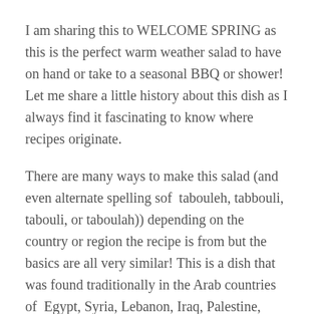I am sharing this to WELCOME SPRING as this is the perfect warm weather salad to have on hand or take to a seasonal BBQ or shower! Let me share a little history about this dish as I always find it fascinating to know where recipes originate.
There are many ways to make this salad (and even alternate spelling sof  tabouleh, tabbouli, tabouli, or taboulah)) depending on the country or region the recipe is from but the basics are all very similar! This is a dish that was found traditionally in the Arab countries of  Egypt, Syria, Lebanon, Iraq, Palestine, Jordan & Israel.  It's origins do go back to Biblical times. Variations are now found in areas like the Dominican Republic, Asia & now graces American tables regularly. Some recipes are heavier on the parsley than my recipe